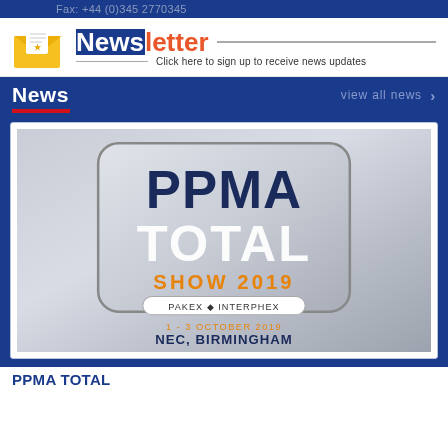Fax: +44 (0)345 2770345
[Figure (logo): Newsletter icon with envelope and letter, followed by Newsletter title in white/orange text and signup link]
News
view all news >
[Figure (photo): PPMA TOTAL SHOW 2019, PAKEX INTERPHEX, 1-3 October 2019, NEC, Birmingham logo on metallic silver background]
PPMA TOTAL